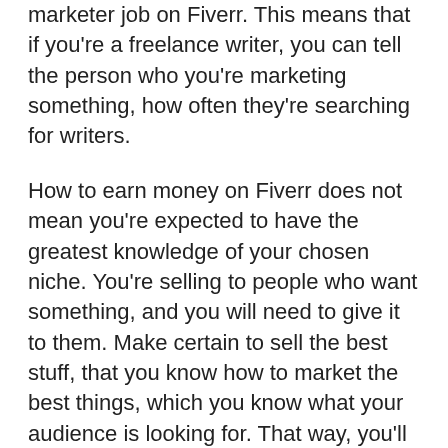marketer job on Fiverr. This means that if you're a freelance writer, you can tell the person who you're marketing something, how often they're searching for writers.
How to earn money on Fiverr does not mean you're expected to have the greatest knowledge of your chosen niche. You're selling to people who want something, and you will need to give it to them. Make certain to sell the best stuff, that you know how to market the best things, which you know what your audience is looking for. That way, you'll always have the ability to find your niche, and your Fiverr affiliate job will remain profitable.
Know your market: If you want to succeed in